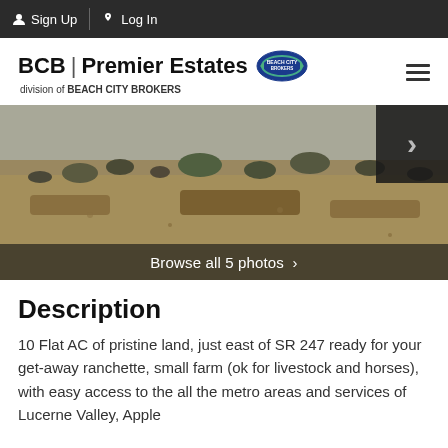Sign Up  Log In
[Figure (logo): BCB | Premier Estates logo with Beach City Brokers circular badge]
[Figure (photo): Flat arid land with sparse desert shrubs under overcast sky, with a navigation arrow and 'Browse all 5 photos' bar]
Description
10 Flat AC of pristine land, just east of SR 247 ready for your get-away ranchette, small farm (ok for livestock and horses), with easy access to the all the metro areas and services of Lucerne Valley, Apple